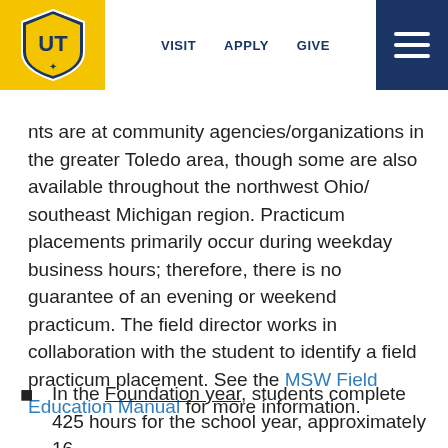VISIT   APPLY   GIVE
ents are at community agencies/organizations in the greater Toledo area, though some are also available throughout the northwest Ohio/ southeast Michigan region. Practicum placements primarily occur during weekday business hours; therefore, there is no guarantee of an evening or weekend practicum. The field director works in collaboration with the student to identify a field practicum placement. See the MSW Field Education Manual for more information.
In the Foundation year, students complete 425 hours for the school year, approximately 16...